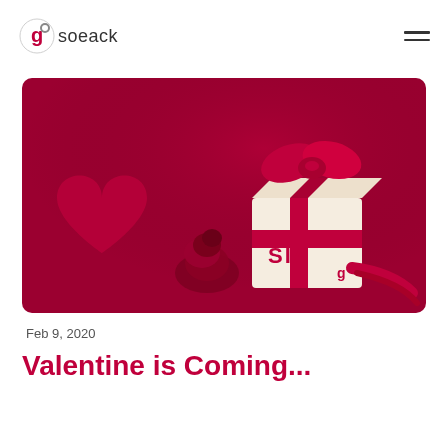soeack
[Figure (photo): Valentine's Day themed photo: a cream-colored gift box with red ribbon and bow, a red paper heart, and a red rose on a deep red background. The gift box has 'SIA' and a logo printed on it.]
Feb 9, 2020
Valentine is Coming...